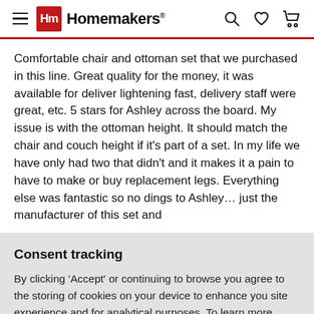Homemakers
Comfortable chair and ottoman set that we purchased in this line. Great quality for the money, it was available for deliver lightening fast, delivery staff were great, etc. 5 stars for Ashley across the board. My issue is with the ottoman height. It should match the chair and couch height if it's part of a set. In my life we have only had two that didn't and it makes it a pain to have to make or buy replacement legs. Everything else was fantastic so no dings to Ashley… just the manufacturer of this set and
Consent tracking
By clicking 'Accept' or continuing to browse you agree to the storing of cookies on your device to enhance you site experience and for analytical purposes. To learn more about how we use cookies, view our Cookie Policy
ACCEPT